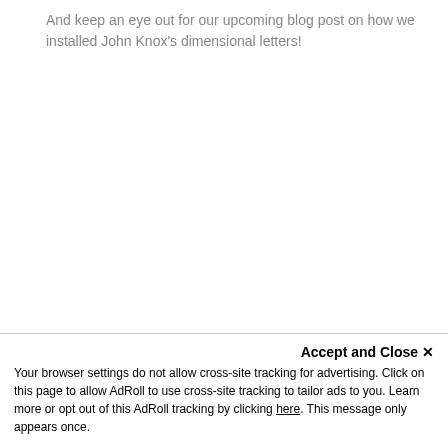And keep an eye out for our upcoming blog post on how we installed John Knox's dimensional letters!
Accept and Close ✕
Your browser settings do not allow cross-site tracking for advertising. Click on this page to allow AdRoll to use cross-site tracking to tailor ads to you. Learn more or opt out of this AdRoll tracking by clicking here. This message only appears once.